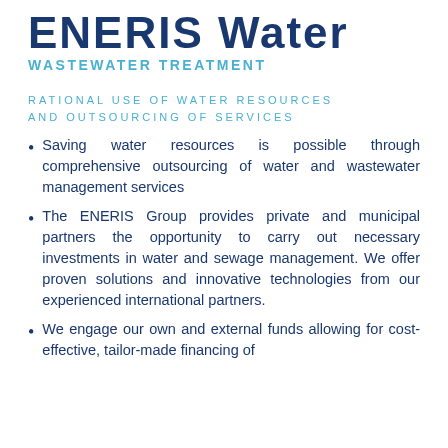ENERIS Water
WASTEWATER TREATMENT
RATIONAL USE OF WATER RESOURCES AND OUTSOURCING OF SERVICES
Saving water resources is possible through comprehensive outsourcing of water and wastewater management services
The ENERIS Group provides private and municipal partners the opportunity to carry out necessary investments in water and sewage management. We offer proven solutions and innovative technologies from our experienced international partners.
We engage our own and external funds allowing for cost-effective, tailor-made financing of